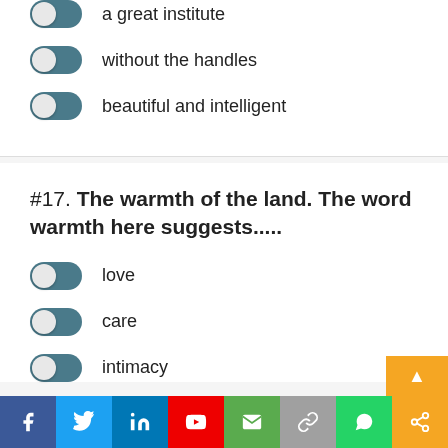a great institute
without the handles
beautiful and intelligent
#17. The warmth of the land. The word warmth here suggests.....
love
care
intimacy